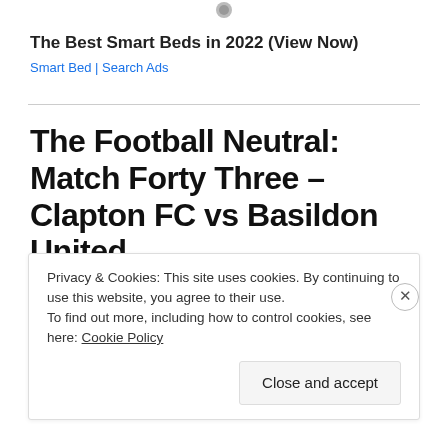[Figure (logo): Small circular logo/icon at top center]
The Best Smart Beds in 2022 (View Now)
Smart Bed | Search Ads
The Football Neutral: Match Forty Three – Clapton FC vs Basildon United
MARCH 18, 2015 / LEAVE A COMMENT
Privacy & Cookies: This site uses cookies. By continuing to use this website, you agree to their use.
To find out more, including how to control cookies, see here: Cookie Policy
Close and accept